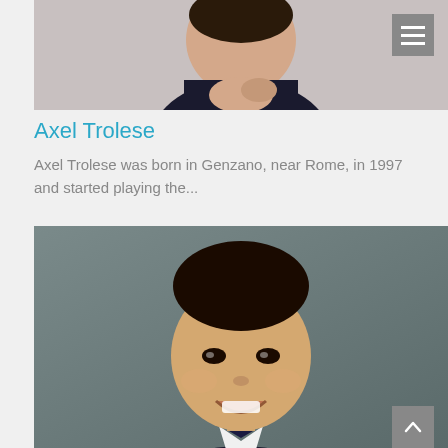[Figure (photo): Portrait photo of Axel Trolese, a young man in a dark shirt with hands clasped, photographed against a light background]
Axel Trolese
Axel Trolese was born in Genzano, near Rome, in 1997 and started playing the...
[Figure (photo): Portrait photo of a smiling young Asian man in a dark suit with bow tie]